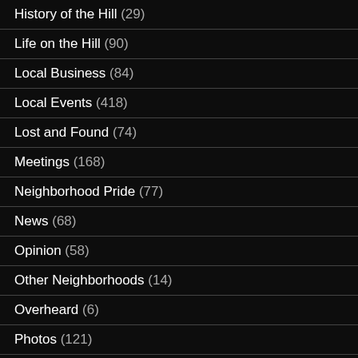History of the Hill (29)
Life on the Hill (90)
Local Business (84)
Local Events (418)
Lost and Found (74)
Meetings (168)
Neighborhood Pride (77)
News (68)
Opinion (58)
Other Neighborhoods (14)
Overheard (6)
Photos (121)
Recreation (76)